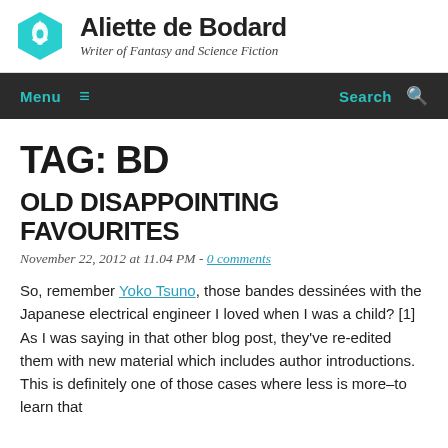[Figure (logo): Aliette de Bodard site logo: cyan hexagon with rocket icon, site name and tagline]
Menu ≡   Search 🔍
TAG: BD
OLD DISAPPOINTING FAVOURITES
November 22, 2012 at 11.04 PM - 0 comments
So, remember Yoko Tsuno, those bandes dessinées with the Japanese electrical engineer I loved when I was a child? [1] As I was saying in that other blog post, they've re-edited them with new material which includes author introductions. This is definitely one of those cases where less is more–to learn that